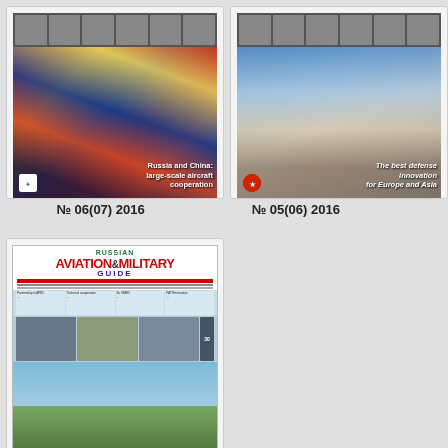[Figure (photo): Magazine cover - Russia and China: large-scale aircraft cooperation, showing Putin and Xi Jinping shaking hands]
№ 06(07) 2016
[Figure (photo): Magazine cover - The best defense innovation for Europe and Asia, showing two leaders shaking hands with Russian and Azerbaijani flags]
№ 05(06) 2016
[Figure (photo): Partial magazine cover - partially visible, cut off on right]
[Figure (photo): Magazine cover - Russian Aviation and Military Guide, showing New technologies for the new aviation industry with a plane-shaped topiary]